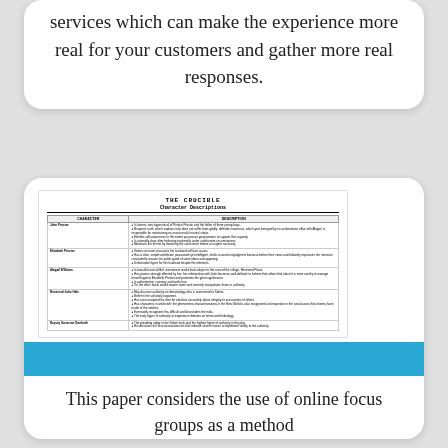services which can make the experience more real for your customers and gather more real responses.
[Figure (other): Thumbnail image of a document titled 'THE CRUCIBLE Character Descriptions' — a table listing characters and their descriptions from The Crucible]
This paper considers the use of online focus groups as a method